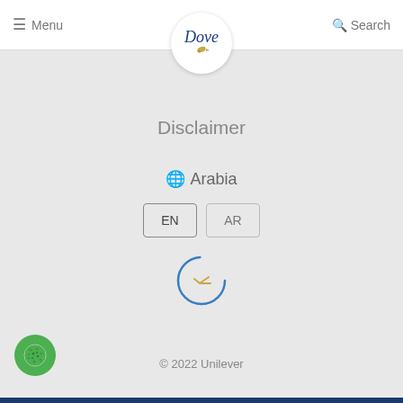Menu | Dove | Search
[Figure (logo): Dove brand logo with dove bird symbol in blue italic font and golden dove graphic]
Disclaimer
🌐 Arabia
EN  AR
[Figure (other): Loading spinner - partial blue circle with small golden arrow graphic in the center]
© 2022 Unilever